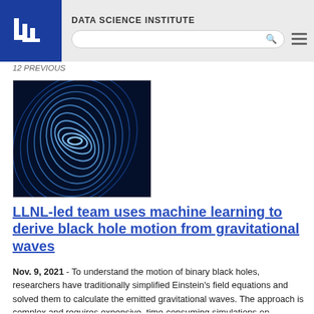DATA SCIENCE INSTITUTE
12 PREVIOUS
[Figure (photo): Spiral gravitational wave pattern visualization — blue spiraling concentric rings on dark background, representing gravitational waves from binary black holes.]
LLNL-led team uses machine learning to derive black hole motion from gravitational waves
Nov. 9, 2021 - To understand the motion of binary black holes, researchers have traditionally simplified Einstein's field equations and solved them to calculate the emitted gravitational waves. The approach is complex and requires expensive, time-consuming simulations on supercomputers or approximation techniques that can lead to errors or break down when applied to more complicated black hole systems.